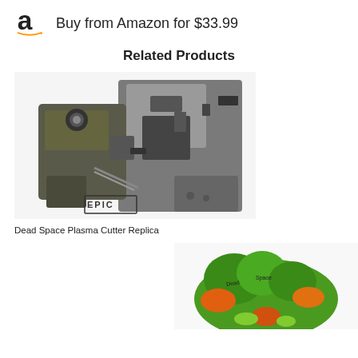Buy from Amazon for $33.99
Related Products
[Figure (photo): Dead Space Plasma Cutter Replica product photo showing a detailed sci-fi weapon replica with metallic and dark finish, EPIC logo watermark visible]
Dead Space Plasma Cutter Replica
[Figure (photo): Partially visible product photo showing a green and orange toy or figurine, cut off at the bottom of the page]